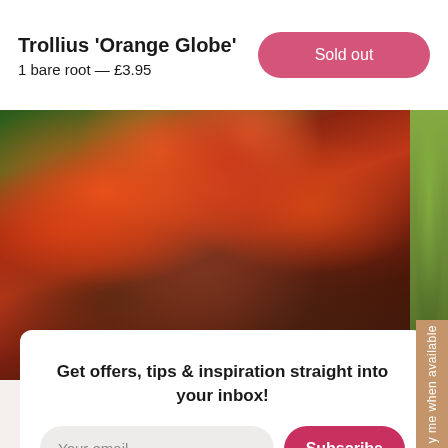Trollius 'Orange Globe'
1 bare root — £3.95
Sold out
[Figure (photo): Person in dark red/magenta top holding a bouquet of bright red/orange flowers (gladioli or similar) in a garden setting. A narrow green sliver of another photo is visible to the right edge.]
Get offers, tips & inspiration straight into your inbox!
Your email
Subscribe
y me when available